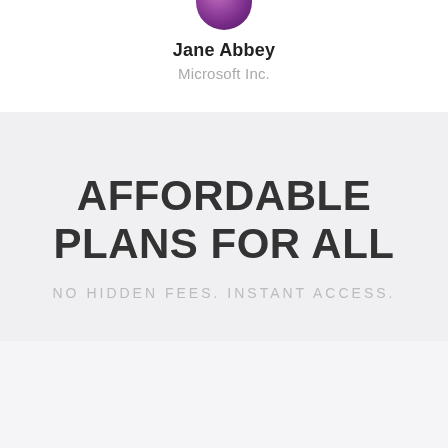[Figure (photo): Partial circular avatar photo of a person with purple/violet coloring, cropped at top]
Jane Abbey
Microsoft Inc.
AFFORDABLE PLANS FOR ALL
NO HIDDEN FEES. INSTANT ACCESS.